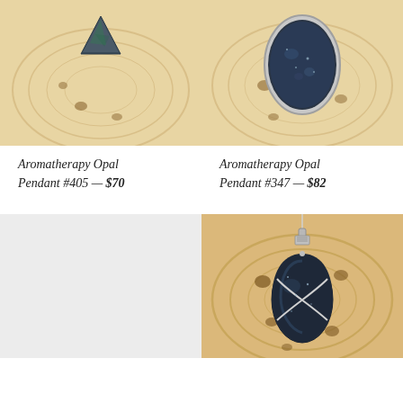[Figure (photo): Aromatherapy Opal Pendant #405 on a wooden display stand, showing a dark gray/teal triangular opal stone]
[Figure (photo): Aromatherapy Opal Pendant #347 on a wooden display stand, showing a dark blue oval opal stone in a silver bezel setting]
Aromatherapy Opal Pendant #405 — $70
Aromatherapy Opal Pendant #347 — $82
[Figure (photo): Empty light gray placeholder image for a product not yet loaded]
[Figure (photo): Aromatherapy Opal Pendant on a wooden display stand, showing a large dark blue/black teardrop opal stone wrapped in silver wire]